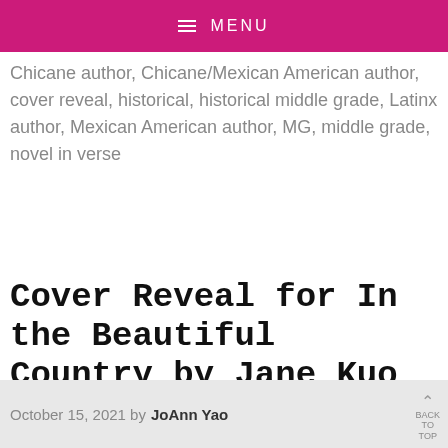≡ MENU
Chicane author, Chicane/Mexican American author, cover reveal, historical, historical middle grade, Latinx author, Mexican American author, MG, middle grade, novel in verse
Cover Reveal for In the Beautiful Country by Jane Kuo
October 15, 2021 by JoAnn Yao  BACK TO TOP